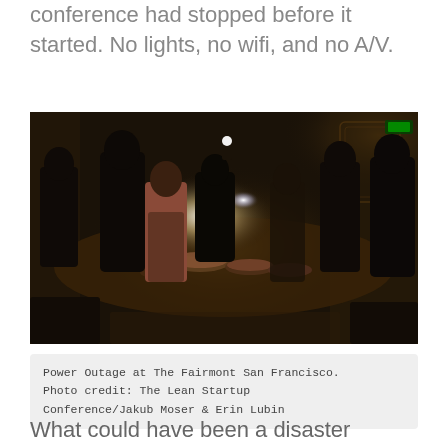conference had stopped before it started. No lights, no wifi, and no A/V.
[Figure (photo): People gathered in a dimly lit ornate ballroom during a power outage, using phone flashlights to illuminate a buffet table. Dark atmospheric photo showing silhouettes of people around a table with food and candlelight-like phone glow.]
Power Outage at The Fairmont San Francisco. Photo credit: The Lean Startup Conference/Jakub Moser & Erin Lubin
What could have been a disaster evolved